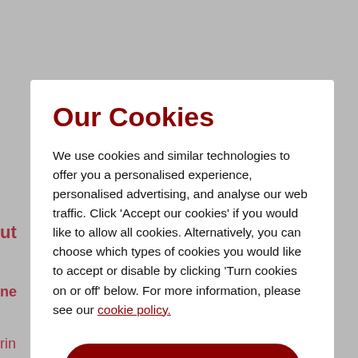Our Cookies
We use cookies and similar technologies to offer you a personalised experience, personalised advertising, and analyse our web traffic. Click 'Accept our cookies' if you would like to allow all cookies. Alternatively, you can choose which types of cookies you would like to accept or disable by clicking 'Turn cookies on or off' below. For more information, please see our cookie policy.
Accept our cookies
Turn cookies on or off